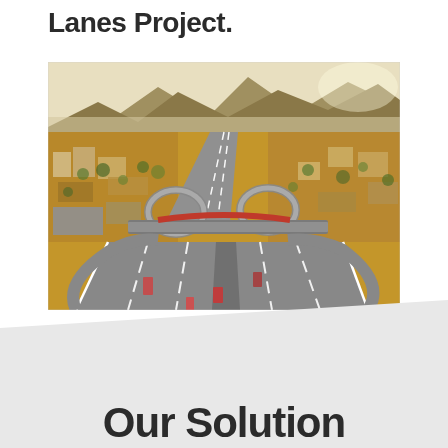Lanes Project.
[Figure (photo): Aerial drone photograph of a highway interchange with multiple lanes, cloverleaf ramps, and an overpass bridge, surrounded by suburban development and arid landscape with mountains in the background.]
Our Solution